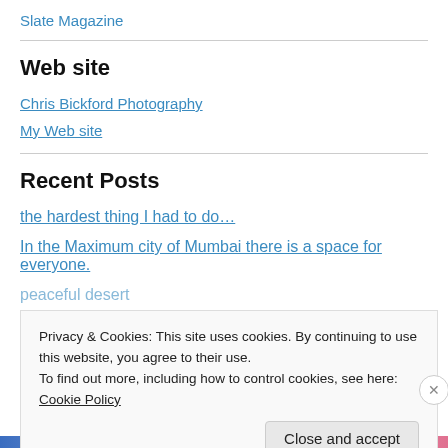Slate Magazine
Web site
Chris Bickford Photography
My Web site
Recent Posts
the hardest thing I had to do…
In the Maximum city of Mumbai there is a space for everyone.
peaceful desert
Privacy & Cookies: This site uses cookies. By continuing to use this website, you agree to their use. To find out more, including how to control cookies, see here: Cookie Policy
Close and accept